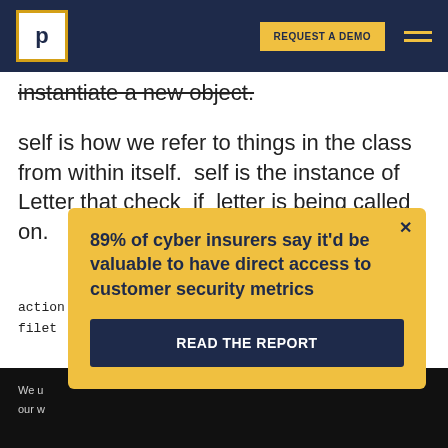REQUEST A DEMO
instantiate a new object.
self is how we refer to things in the class from within itself.  self is the instance of Letter that check_if_letter is being called on.
action 'view' is not supported for
filet
[Figure (screenshot): Popup modal with yellow background stating '89% of cyber insurers say it'd be valuable to have direct access to customer security metrics' with a 'READ THE REPORT' button]
We u
our w